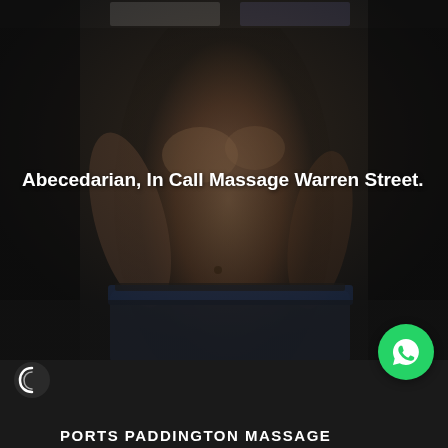[Figure (photo): Shirtless male figure photographed from the side against a dark background, wearing blue jeans, face partially cut off at top]
Abecedarian, In Call Massage Warren Street.
[Figure (logo): Sports Paddington Massage logo with circular icon and text]
PORTS PADDINGTON MASSAGE